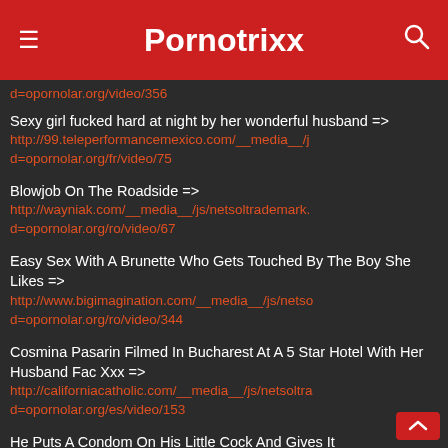Pornotrixx
d=opornolar.org/video/356 (partial URL, cut off at top)
Sexy girl fucked hard at night by her wonderful husband => http://99.teleperformancemexico.com/__media__/j...d=opornolar.org/fr/video/75
Blowjob On The Roadside => http://wayniak.com/__media__/js/netsoltrademark....d=opornolar.org/ro/video/67
Easy Sex With A Brunette Who Gets Touched By The Boy She Likes => http://www.bigimagination.com/__media__/js/netso...d=opornolar.org/ro/video/344
Cosmina Pasarin Filmed In Bucharest At A 5 Star Hotel With Her Husband Fac Xxx => http://californiacatholic.com/__media__/js/netsoltra...d=opornolar.org/es/video/153
He Puts A Condom On His Little Cock And Gives It... (partial, cut off)